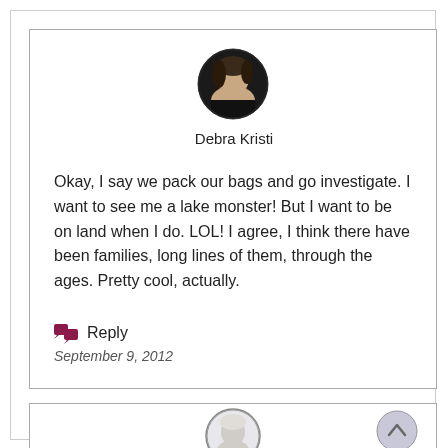[Figure (photo): Circular avatar photo of Debra Kristi, a woman with dark hair]
Debra Kristi
Okay, I say we pack our bags and go investigate. I want to see me a lake monster! But I want to be on land when I do. LOL! I agree, I think there have been families, long lines of them, through the ages. Pretty cool, actually.
Reply
September 9, 2012
[Figure (photo): Circular avatar photo of a second commenter, partially visible at bottom of page]